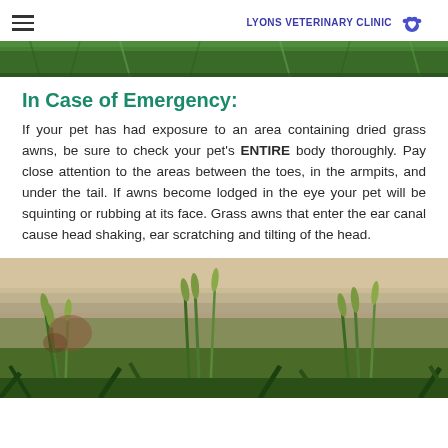LYONS VETERINARY CLINIC
[Figure (photo): Close-up photo of dried grass/wheat awns in a field, greenish tones at top of page]
In Case of Emergency:
If your pet has had exposure to an area containing dried grass awns, be sure to check your pet’s ENTIRE body thoroughly. Pay close attention to the areas between the toes, in the armpits, and under the tail. If awns become lodged in the eye your pet will be squinting or rubbing at its face. Grass awns that enter the ear canal cause head shaking, ear scratching and tilting of the head.
[Figure (photo): Close-up photo of green wheat/grass stalks in a field with blurred background showing farmland]